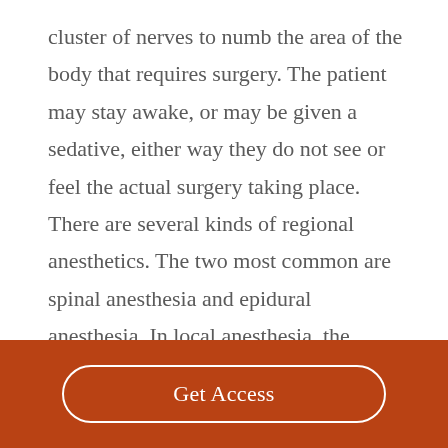cluster of nerves to numb the area of the body that requires surgery.  The patient may stay awake, or may be given a sedative, either way they do not see or feel the actual surgery taking place.  There are several kinds of regional anesthetics.  The two most common are spinal anesthesia and epidural anesthesia.  In local anesthesia, the anesthetic drug is usually injected into the tissue to numb just the specific location of the body requiring
Get Access